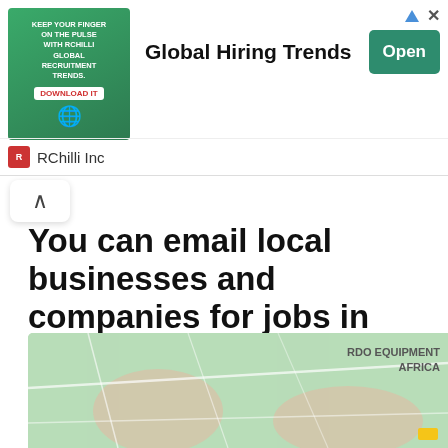[Figure (screenshot): Advertisement banner for RChilli Inc showing 'Global Hiring Trends' with a green image, Open button, and close/arrow icons]
Global Hiring Trends
RChilli Inc
You can email local businesses and companies for jobs in Zambia
You can search for companies and local businesses in Zambia. An easy tool for doing that can be any map app or map website. Below is, for example, a Google Maps search for 'factory near Kabwe'.
[Figure (map): Google Maps screenshot showing area near Kabwe, Zambia with a label 'RDO EQUIPMENT AFRICA']